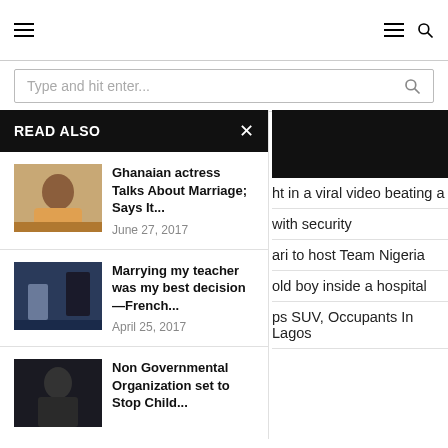Navigation bar with hamburger menu and search icon
Type and hit enter...
READ ALSO
[Figure (photo): Thumbnail of Ghanaian actress in colorful dress]
Ghanaian actress Talks About Marriage; Says It...
June 27, 2017
[Figure (photo): Thumbnail of couple, woman in short dress and man in suit]
Marrying my teacher was my best decision—French...
April 25, 2017
[Figure (photo): Dark thumbnail photo]
Non Governmental Organization set to Stop Child...
ht in a viral video beating a
with security
ari to host Team Nigeria
old boy inside a hospital
ps SUV, Occupants In Lagos